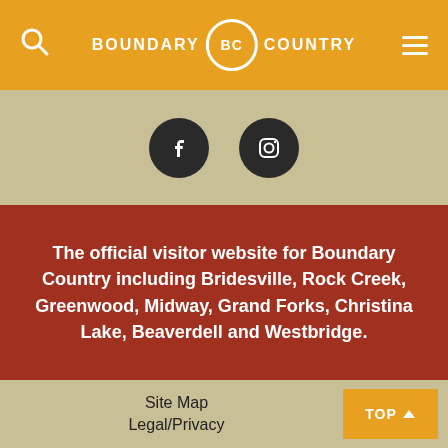BOUNDARY BC COUNTRY
[Figure (logo): Facebook and Instagram social media icons, dark circular buttons on tan background]
The official visitor website for Boundary Country including Bridesville, Rock Creek, Greenwood, Midway, Grand Forks, Christina Lake, Beaverdell and Westbridge.
Site Map | Legal/Privacy | TOP